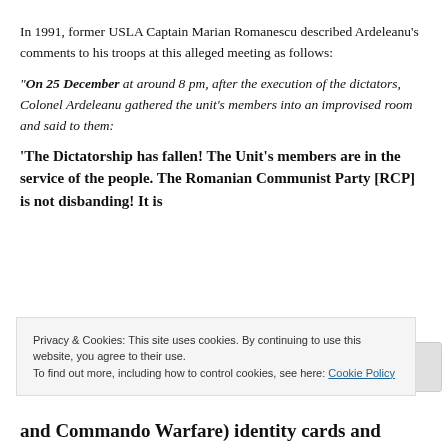In 1991, former USLA Captain Marian Romanescu described Ardeleanu’s comments to his troops at this alleged meeting as follows:
“On 25 December at around 8 pm, after the execution of the dictators, Colonel Ardeleanu gathered the unit’s members into an improvised room and said to them:
‘The Dictatorship has fallen!  The Unit’s members are in the service of the people.  The Romanian Communist Party [RCP] is not disbanding!  It is
Privacy & Cookies: This site uses cookies. By continuing to use this website, you agree to their use.
To find out more, including how to control cookies, see here: Cookie Policy
Close and accept
and Commando Warfare) identity cards and